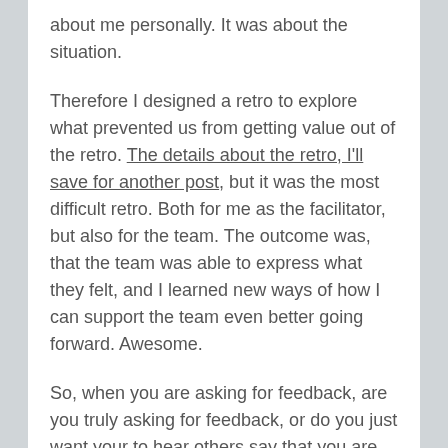about me personally. It was about the situation.
Therefore I designed a retro to explore what prevented us from getting value out of the retro. The details about the retro, I'll save for another post, but it was the most difficult retro. Both for me as the facilitator, but also for the team. The outcome was, that the team was able to express what they felt, and I learned new ways of how I can support the team even better going forward. Awesome.
So, when you are asking for feedback, are you truly asking for feedback, or do you just want your to hear others say that you are doing a good job? Are you avoiding the difficult situations? Or Ignoring the feedback you do get? Or in other ways miss out on opportunities to learn and grow?